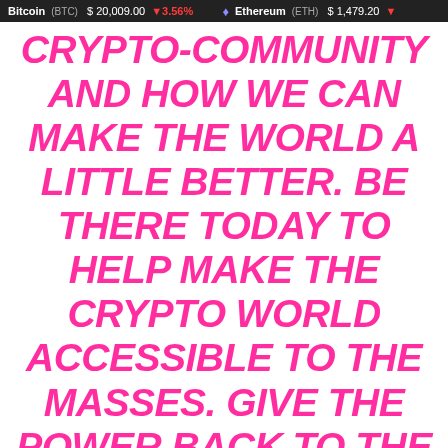Bitcoin (BTC) $20,009.00 ↓3.56%  Ethereum (ETH) $1,479.20 ↓
CRYPTO-COMMUNITY AND HOW WE CAN MAKE THE WORLD A LITTLE BETTER. BE THERE TODAY TO HELP MAKE THE CRYPTO WORLD ACCESSIBLE TO THE MASSES. GIVE THE POWER BACK TO THE PEOPLE! SOURCE